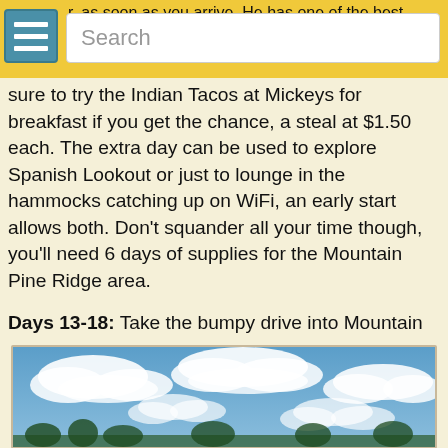Search
sure to try the Indian Tacos at Mickeys for breakfast if you get the chance, a steal at $1.50 each. The extra day can be used to explore Spanish Lookout or just to lounge in the hammocks catching up on WiFi, an early start allows both. Don't squander all your time though, you'll need 6 days of supplies for the Mountain Pine Ridge area.
Days 13-18: Take the bumpy drive into Mountain Pine Ridge, free, making the first stop the guard shack where the Caracol convoys leave from. You could join a convoy to visit the ruins, $15, it's a bumpy drive but our favorite set of ruins in all of Belize. After the ruins, check in with the military to let them know you'll be camping in the area, then on to Rio Frio Cave. The cave takes less than one hour to explore before making your way to Rio On Pools. We suggest spending every night at the pools, parked behind the pavilion, lazing and soaking the days away.
[Figure (photo): Blue sky with white clouds, outdoor scenic photo]